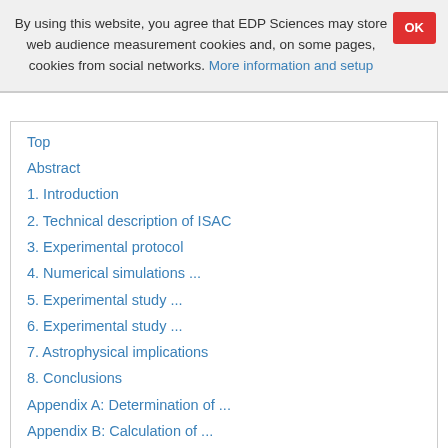By using this website, you agree that EDP Sciences may store web audience measurement cookies and, on some pages, cookies from social networks. More information and setup
Top
Abstract
1. Introduction
2. Technical description of ISAC
3. Experimental protocol
4. Numerical simulations ...
5. Experimental study ...
6. Experimental study ...
7. Astrophysical implications
8. Conclusions
Appendix A: Determination of ...
Appendix B: Calculation of ...
Acknowledgments